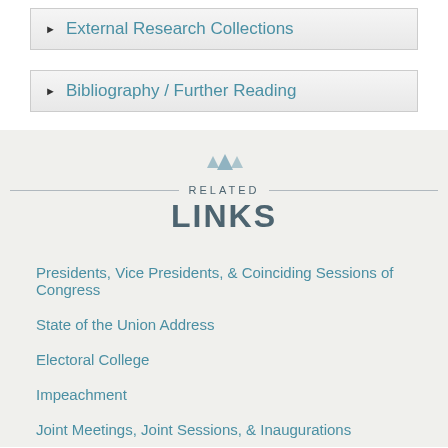▶ External Research Collections
▶ Bibliography / Further Reading
RELATED LINKS
Presidents, Vice Presidents, & Coinciding Sessions of Congress
State of the Union Address
Electoral College
Impeachment
Joint Meetings, Joint Sessions, & Inaugurations